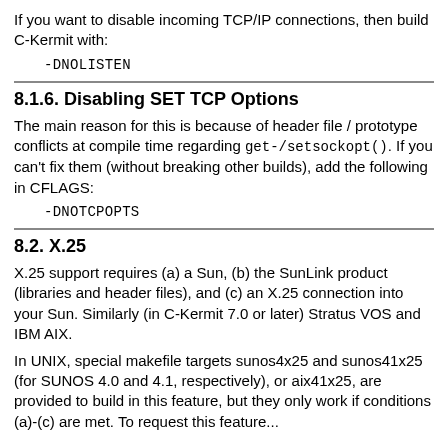If you want to disable incoming TCP/IP connections, then build C-Kermit with:
-DNOLISTEN
8.1.6. Disabling SET TCP Options
The main reason for this is because of header file / prototype conflicts at compile time regarding get-/setsockopt(). If you can't fix them (without breaking other builds), add the following in CFLAGS:
-DNOTCPOPTS
8.2. X.25
X.25 support requires (a) a Sun, (b) the SunLink product (libraries and header files), and (c) an X.25 connection into your Sun. Similarly (in C-Kermit 7.0 or later) Stratus VOS and IBM AIX.
In UNIX, special makefile targets sunos4x25 and sunos41x25 (for SUNOS 4.0 and 4.1, respectively), or aix41x25, are provided to build in this feature, but they only work if conditions (a)-(c) are met. To request this feature...